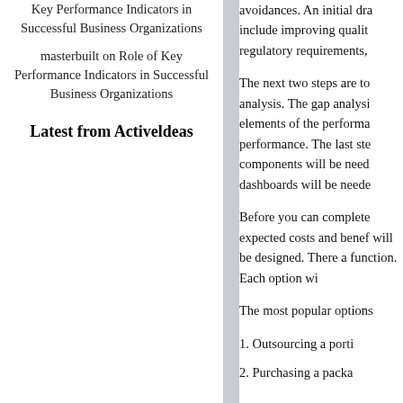Key Performance Indicators in Successful Business Organizations
masterbuilt on Role of Key Performance Indicators in Successful Business Organizations
Latest from Activeldeas
avoidances. An initial dr include improving qualit regulatory requirements,
The next two steps are to analysis. The gap analysi elements of the performa performance. The last ste components will be need dashboards will be neede
Before you can complete expected costs and benef will be designed. There a function. Each option wi
The most popular options
1. Outsourcing a porti
2. Purchasing a packa